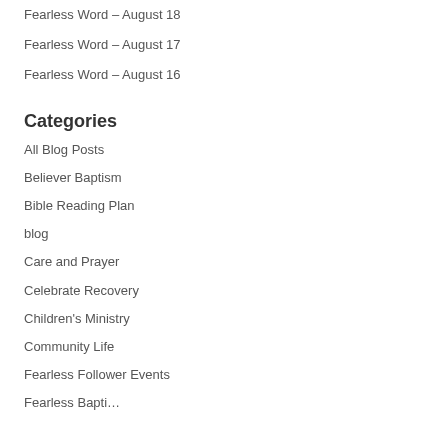Fearless Word – August 18
Fearless Word – August 17
Fearless Word – August 16
Categories
All Blog Posts
Believer Baptism
Bible Reading Plan
blog
Care and Prayer
Celebrate Recovery
Children's Ministry
Community Life
Fearless Follower Events
Fearless Bapti…